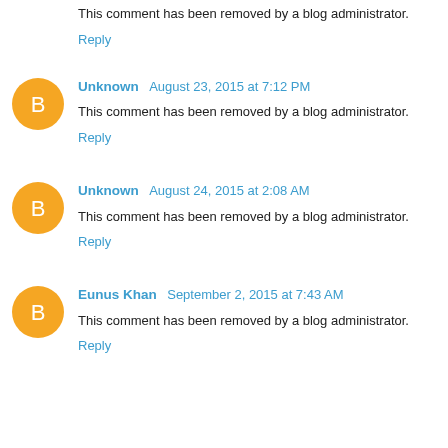This comment has been removed by a blog administrator.
Reply
Unknown August 23, 2015 at 7:12 PM
This comment has been removed by a blog administrator.
Reply
Unknown August 24, 2015 at 2:08 AM
This comment has been removed by a blog administrator.
Reply
Eunus Khan September 2, 2015 at 7:43 AM
This comment has been removed by a blog administrator.
Reply